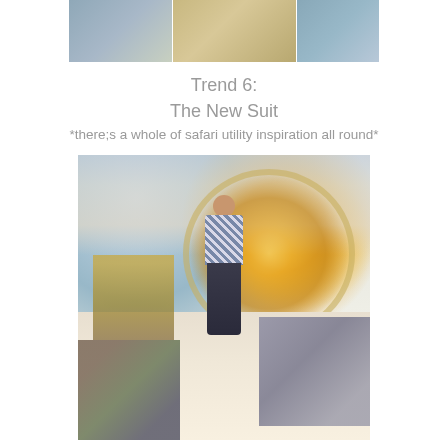[Figure (photo): Top strip photo showing fashion items including a bag and clothing pieces on a runway or display]
Trend 6:
The New Suit
*there;s a whole of safari utility inspiration all round*
[Figure (photo): Fashion show photo of a female model walking a runway wearing a floral sleeveless top and dark slim trousers with heeled sandals, in a department store or mall setting with audience watching and a large circular golden mirror in background]